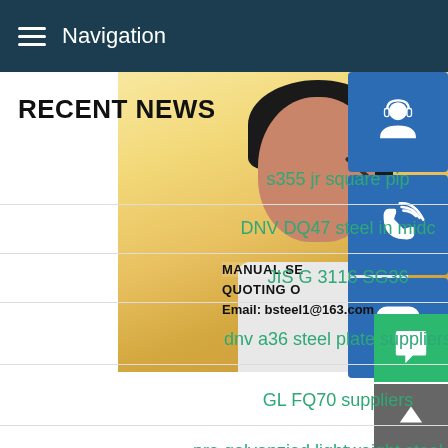Navigation
[Figure (screenshot): Background photo of a woman wearing a headset, overlaid with blue icon buttons for support, phone, and Skype on the right side, and overlay text: MANUAL SE... QUOTING O... Email: bsteel1@163.com]
RECENT NEWS
s355 jr square pip
DNV DQ47 steel in midc
JIS G 3116 SG36
dnv a36 steel plate suppliers
GL FQ70 suppliers
pre galvanzied lightweight steel tube